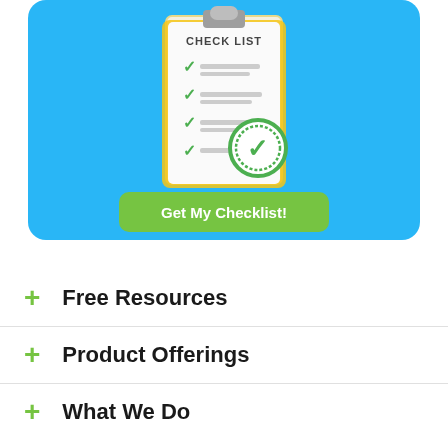[Figure (illustration): Blue rounded rectangle banner with a clipboard checklist illustration showing checkmarks and a large green check circle, plus a green 'Get My Checklist!' button]
Free Resources
Product Offerings
What We Do